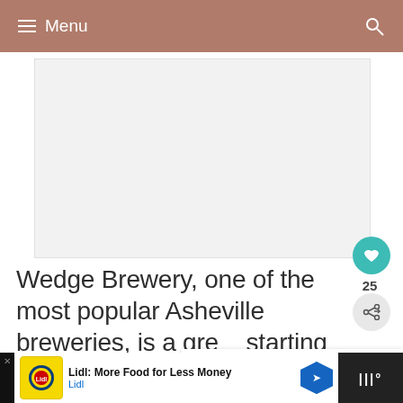Menu
[Figure (photo): Large image placeholder, likely a photo of Wedge Brewery or Asheville breweries]
Wedge Brewery, one of the most popular Asheville breweries, is a great starting point, but be sure to spread the love a bit!
[Figure (infographic): What's Next panel showing a circular image of the Biltmore with label 'WHAT'S NEXT → Visiting the Biltmore...']
[Figure (infographic): Advertisement bar: Lidl: More Food for Less Money, Lidl brand]